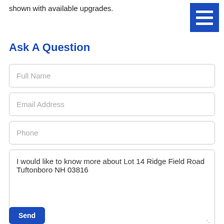shown with available upgrades.
[Figure (other): Blue hamburger menu button icon with three white horizontal bars]
Ask A Question
Full Name
Email Address
Phone
I would like to know more about Lot 14 Ridge Field Road Tuftonboro NH 03816
Send